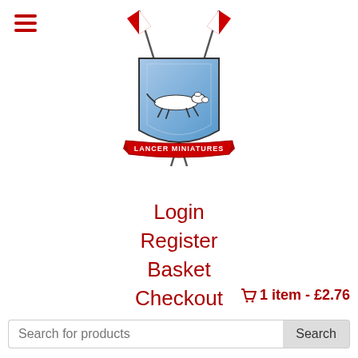[Figure (logo): Lancer Miniatures heraldic shield logo with crossed lances and a greyhound, red and blue colors, with ribbon banner reading LANCER MINIATURES]
Login
Register
Basket
Checkout
1 item - £2.76
Search for products